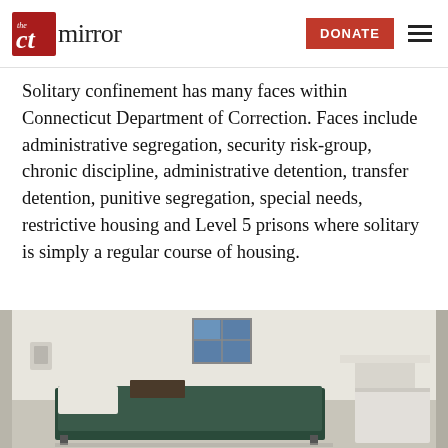the CT mirror | DONATE
Solitary confinement has many faces within Connecticut Department of Correction. Faces include administrative segregation, security risk-group, chronic discipline, administrative detention, transfer detention, punitive segregation, special needs, restrictive housing and Level 5 prisons where solitary is simply a regular course of housing.
[Figure (photo): Interior of a prison solitary confinement cell showing a bed with a dark mattress, a small window, a wall-mounted shelf or desk, and sparse furnishings in a white-walled room.]